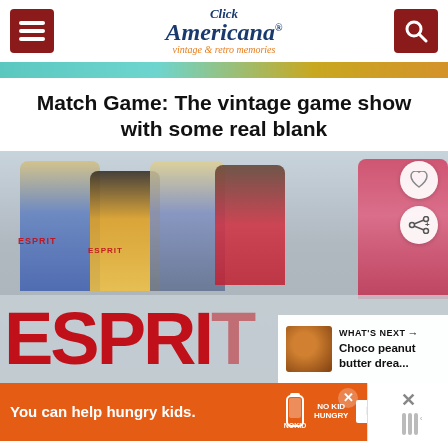Click Americana – vintage & retro memories
[Figure (photo): Decorative banner strip with teal and gold tones]
Match Game: The vintage game show with some real blank
[Figure (photo): Photo of children in colorful Esprit branded clothing with large red ESPRIT logo overlay at bottom, with heart and share buttons, and a 'What's Next' thumbnail box showing Choco peanut butter drea...]
[Figure (photo): Advertisement banner: 'You can help hungry kids.' No Kid Hungry LEARN HOW]
[Figure (photo): Bottom right partial image with X close button and partial thermometer icon]